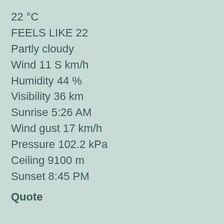22 °C
FEELS LIKE 22
Partly cloudy
Wind 11 S km/h
Humidity 44 %
Visibility 36 km
Sunrise 5:26 AM
Wind gust 17 km/h
Pressure 102.2 kPa
Ceiling 9100 m
Sunset 8:45 PM
Quote